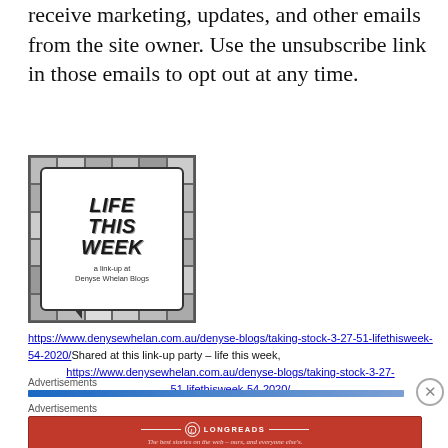receive marketing, updates, and other emails from the site owner. Use the unsubscribe link in those emails to opt out at any time.
[Figure (logo): Life This Week logo — speech bubble graphic with bold italic text reading LIFE THIS WEEK, subtitle: a link-up at Denyse Whelan Blogs, on a gray tiled background]
https://www.denysewhelan.com.au/denyse-blogs/taking-stock-3-27-51-lifethisweek-54-2020/ Shared at this link-up party – life this week, https://www.denysewhelan.com.au/denyse-blogs/taking-stock-3-27-51-lifethisweek-54-2020/
Advertisements
Advertisements
[Figure (illustration): Longreads advertisement banner — dark red background, Longreads logo and text: The best stories on the web – ours, and everyone else's.]